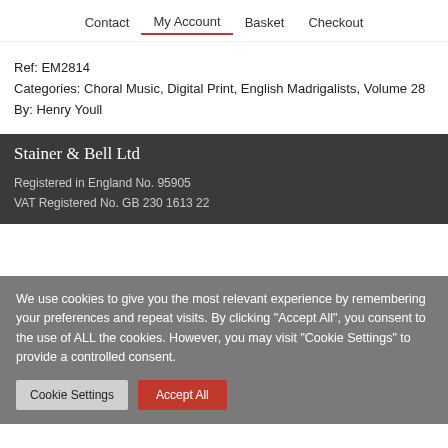Contact   My Account   Basket   Checkout
Ref: EM2814
Categories: Choral Music, Digital Print, English Madrigalists, Volume 28
By: Henry Youll
Stainer & Bell Ltd
Registered in England No. 95905
VAT Registered No. GB 230 1613 22
We use cookies to give you the most relevant experience by remembering your preferences and repeat visits. By clicking "Accept All", you consent to the use of ALL the cookies. However, you may visit "Cookie Settings" to provide a controlled consent.